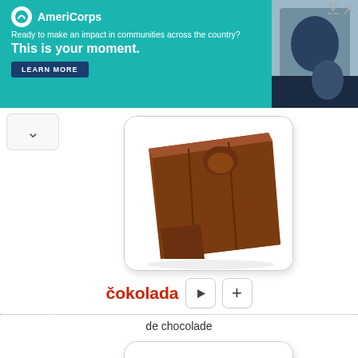[Figure (screenshot): AmeriCorps advertisement banner with teal background, logo, tagline 'Ready to make an impact in communities across the country?', headline 'This is your moment.', and LEARN MORE button]
[Figure (photo): Photo of a chocolate block/chunk, brown colored, from a language learning flashcard]
čokolada
de chocolade
[Figure (photo): Photo of two coconuts, one whole and one split open showing interior, from a language learning flashcard]